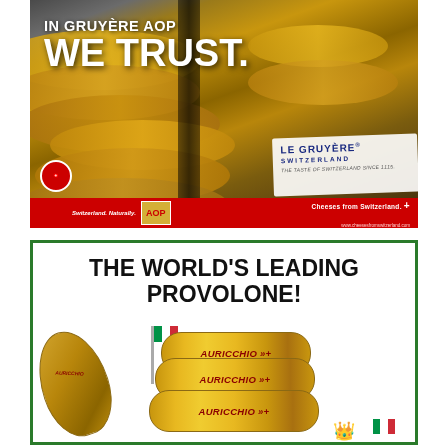[Figure (illustration): Advertisement for Le Gruyère AOP cheese showing stacked cheese wheels in the background with text 'IN GRUYÈRE AOP WE TRUST.' in white bold letters. Bottom bar is red with AOP logo, Swiss branding, and 'Cheeses from Switzerland.' tagline.]
[Figure (illustration): Advertisement for Auricchio Provolone showing text 'THE WORLD'S LEADING PROVOLONE!' with images of Auricchio provolone cheese products including a teardrop-shaped whole provolone and several wrapped cylinders with the Auricchio brand name.]